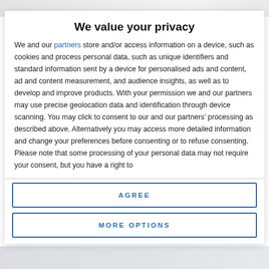[Figure (screenshot): Blurred background image visible at top of page behind privacy modal]
We value your privacy
We and our partners store and/or access information on a device, such as cookies and process personal data, such as unique identifiers and standard information sent by a device for personalised ads and content, ad and content measurement, and audience insights, as well as to develop and improve products. With your permission we and our partners may use precise geolocation data and identification through device scanning. You may click to consent to our and our partners' processing as described above. Alternatively you may access more detailed information and change your preferences before consenting or to refuse consenting. Please note that some processing of your personal data may not require your consent, but you have a right to
AGREE
MORE OPTIONS
[Figure (photo): Background photo visible at bottom of page behind privacy modal]